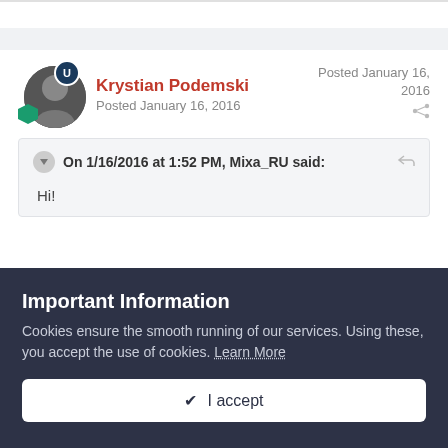Krystian Podemski
Posted January 16, 2016
Posted January 16, 2016
On 1/16/2016 at 1:52 PM, Mixa_RU said:
Hi!
Important Information
Cookies ensure the smooth running of our services. Using these, you accept the use of cookies. Learn More
✔ I accept